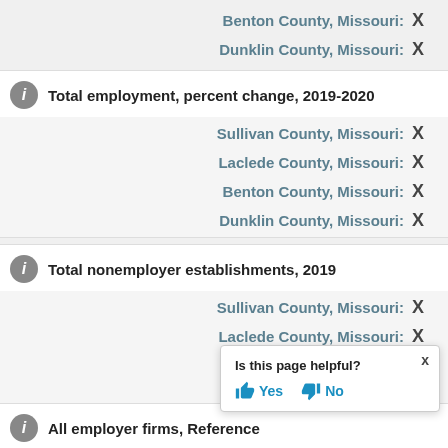Benton County, Missouri: X
Dunklin County, Missouri: X
Total employment, percent change, 2019-2020
Sullivan County, Missouri: X
Laclede County, Missouri: X
Benton County, Missouri: X
Dunklin County, Missouri: X
Total nonemployer establishments, 2019
Sullivan County, Missouri: X
Laclede County, Missouri: X
Benton County, Missouri: X
Dunklin County, Missouri: X
All employer firms, Reference
Is this page helpful? Yes No